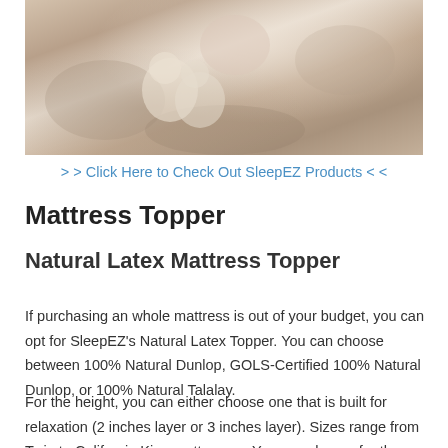[Figure (photo): Photo of a baby or young child lying down with stuffed animal toys on a patterned blanket]
> > Click Here to Check Out SleepEZ Products < <
Mattress Topper
Natural Latex Mattress Topper
If purchasing an whole mattress is out of your budget, you can opt for SleepEZ's Natural Latex Topper. You can choose between 100% Natural Dunlop, GOLS-Certified 100% Natural Dunlop, or 100% Natural Talalay.
For the height, you can either choose one that is built for relaxation (2 inches layer or 3 inches layer). Sizes range from Twin to California King mattresses. You can choose for the level of